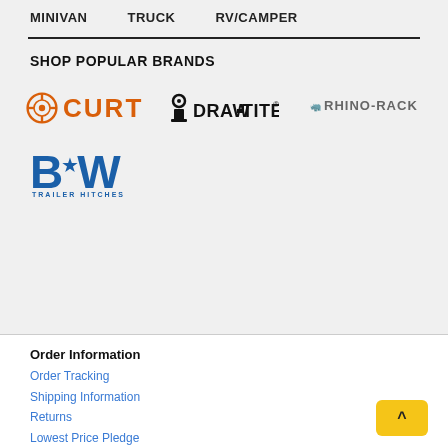MINIVAN   TRUCK   RV/CAMPER
SHOP POPULAR BRANDS
[Figure (logo): CURT brand logo in orange]
[Figure (logo): DRAW-TITE brand logo in black]
[Figure (logo): RHINO-RACK brand logo in gray]
[Figure (logo): B&W Trailer Hitches logo in blue]
Order Information
Order Tracking
Shipping Information
Returns
Lowest Price Pledge